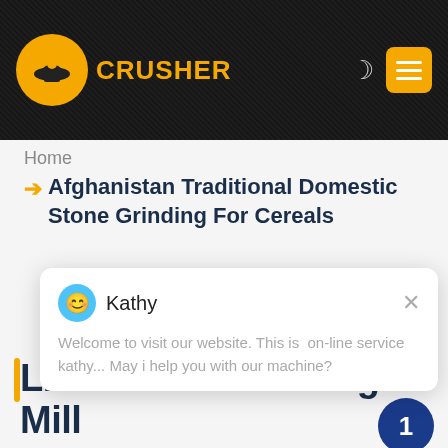[Figure (screenshot): Website header with dark background showing industrial machinery, company logo (orange circle with hard-hat icon), 'CRUSHER' text in orange, moon icon and yellow hamburger menu button on the right]
Home
➔ Afghanistan Traditional Domestic Stone Grinding For Cereals
[Figure (screenshot): Chat popup widget showing avatar 'Kathy', welcome message 'Welcome to visit our website. This is on-line service kathy... May i help you with our machine?', and close X button]
LM Vertical Grinding Mill
We have successively launched vertical mill products independent intellectual property rights. Product Features: Integration of multiple functions, more stable and reliable production and more excellent capacity